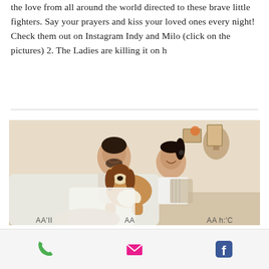the love from all around the world directed to these brave little fighters. Say your prayers and kiss your loved ones every night! Check them out on Instagram Indy and Milo (click on the pictures) 2. The Ladies are killing it on h
[Figure (photo): A couple laughing and playing with a beagle dog on a couch indoors]
Phone | Email | Facebook navigation bar